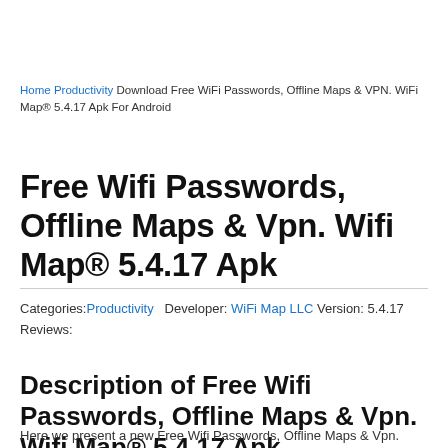Home Productivity Download Free WiFi Passwords, Offline Maps & VPN. WiFi Map® 5.4.17 Apk For Android
Free Wifi Passwords, Offline Maps & Vpn. Wifi Map® 5.4.17 Apk
Categories: Productivity   Developer: WiFi Map LLC  Version: 5.4.17
Reviews:
Description of Free Wifi Passwords, Offline Maps & Vpn. Wifi Map® 5.4.17 Apk
Here we present a new Free Wifi Passwords, Offline Maps & Vpn.